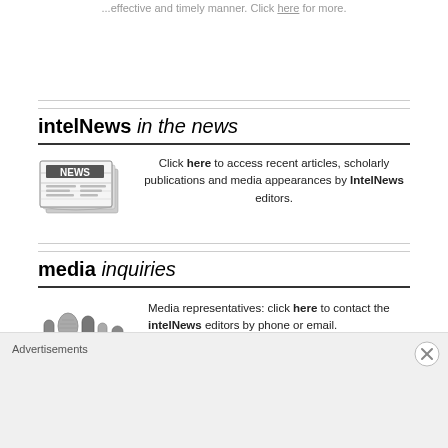...effective and timely manner. Click here for more.
intelNews in the news
[Figure (illustration): Grayscale illustration of a newspaper stack]
Click here to access recent articles, scholarly publications and media appearances by IntelNews editors.
media inquiries
[Figure (illustration): Grayscale illustration of several microphones]
Media representatives: click here to contact the intelNews editors by phone or email.
intelNews social networks
Advertisements